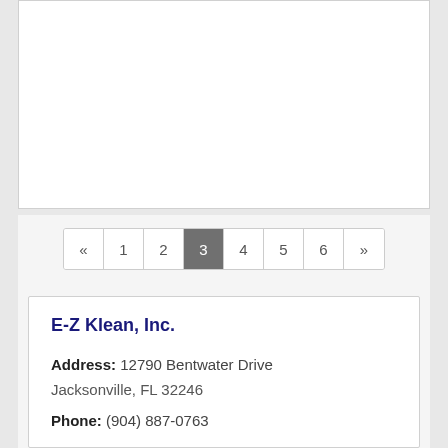«  1  2  3  4  5  6  »
E-Z Klean, Inc.
Address: 12790 Bentwater Drive Jacksonville, FL 32246
Phone: (904) 887-0763